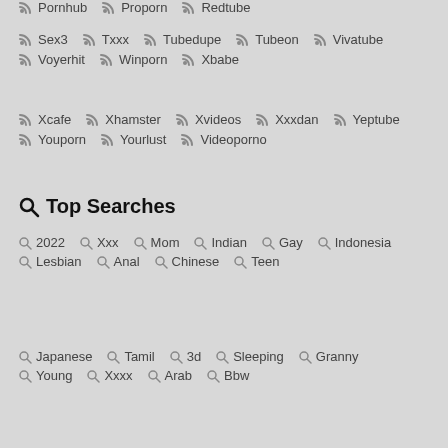Pornhub  Proporn  Redtube
Sex3  Txxx  Tubedupe  Tubeon  Vivatube
Voyerhit  Winporn  Xbabe
Xcafe  Xhamster  Xvideos  Xxxdan  Yeptube
Youporn  Yourlust  Videoporno
Top Searches
2022  Xxx  Mom  Indian  Gay  Indonesia
Lesbian  Anal  Chinese  Teen
Japanese  Tamil  3d  Sleeping  Granny
Young  Xxxx  Arab  Bbw